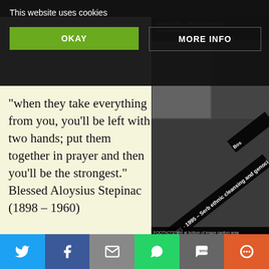This website uses cookies
OKAY
MORE INFO
"when they take everything from you, you'll be left with two hands; put them together in prayer and then you'll be the strongest." Blessed Aloysius Stepinac (1898 – 1960)
[Figure (photo): Black and white historical photographs collage showing Croatia 1991-1995 Serb ethnic cleansing and genocide, and Bosnia related events]
It is a breath of fresh air to know that the Jasenovac" has not made it to the short li Serbian attempt with this movie to receiv for their lies and vicious anti-Croatian pr same stroke of „pen" burying further the state – did not succeed. It is a breath of fr
FIRST PRESIDENT OF
Twitter | Facebook | Email | WhatsApp | SMS | More